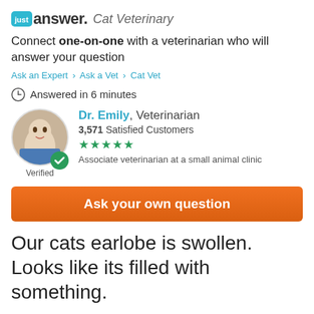just answer  Cat Veterinary
Connect one-on-one with a veterinarian who will answer your question
Ask an Expert > Ask a Vet > Cat Vet
Answered in 6 minutes
Dr. Emily, Veterinarian
3,571 Satisfied Customers
★★★★★
Associate veterinarian at a small animal clinic
Verified
Ask your own question
Our cats earlobe is swollen. Looks like its filled with something.